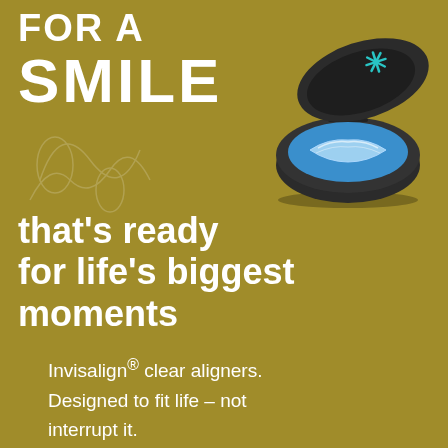FOR A SMILE
[Figure (photo): An open black dental aligner case with a blue interior, containing clear dental aligners, photographed from above at an angle. A small teal snowflake/asterisk logo is visible on the inside lid.]
that's ready for life's biggest moments
Invisalign® clear aligners. Designed to fit life – not interrupt it.